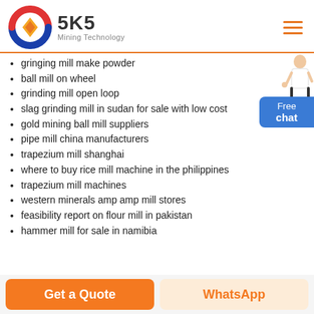[Figure (logo): SKS Mining Technology logo with circular blue/red/white emblem and diamond, company name '5K5' in bold dark text, 'Mining Technology' subtitle]
gringing mill make powder
ball mill on wheel
grinding mill open loop
slag grinding mill in sudan for sale with low cost
gold mining ball mill suppliers
pipe mill china manufacturers
trapezium mill shanghai
where to buy rice mill machine in the philippines
trapezium mill machines
western minerals amp amp mill stores
feasibility report on flour mill in pakistan
hammer mill for sale in namibia